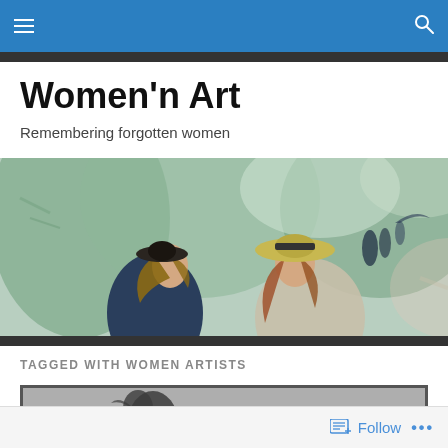Women'n Art - Navigation bar with menu and search icons
Women'n Art
Remembering forgotten women
[Figure (illustration): Impressionist painting showing two girls/women wearing wide-brimmed hats in an outdoor scene with greenish background and other figures in the distance]
TAGGED WITH WOMEN ARTISTS
[Figure (photo): Partial view of a photograph or painting with dark figures on a gray background, appearing to show animal or human figures]
Follow   ...